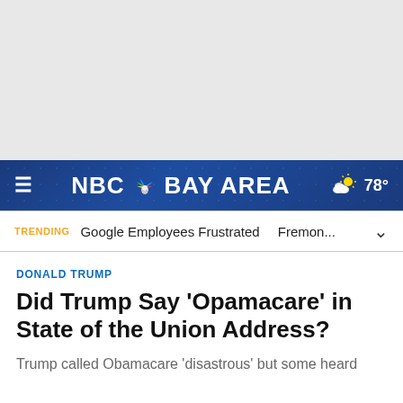[Figure (screenshot): Gray advertisement/banner placeholder area at top of page]
NBC BAY AREA  78°  ≡
TRENDING  Google Employees Frustrated  Fremon...
DONALD TRUMP
Did Trump Say 'Opamacare' in State of the Union Address?
Trump called Obamacare 'disastrous' but some heard